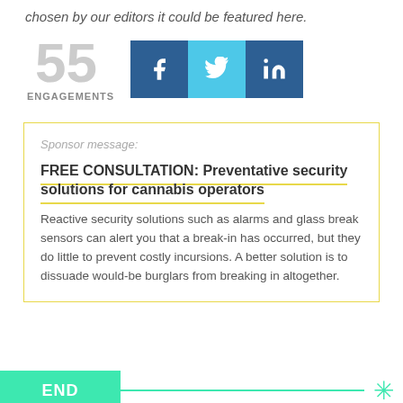chosen by our editors it could be featured here.
[Figure (infographic): 55 ENGAGEMENTS with Facebook, Twitter, LinkedIn social share buttons]
Sponsor message:
FREE CONSULTATION: Preventative security solutions for cannabis operators
Reactive security solutions such as alarms and glass break sensors can alert you that a break-in has occurred, but they do little to prevent costly incursions. A better solution is to dissuade would-be burglars from breaking in altogether.
END